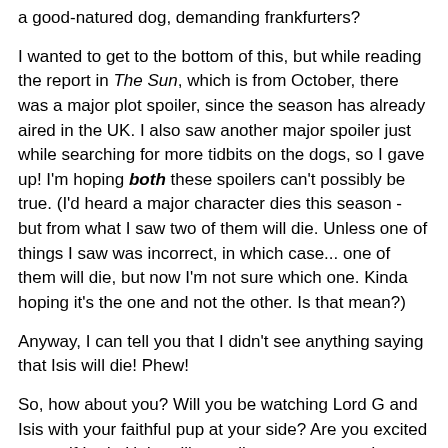a good-natured dog, demanding frankfurters?
I wanted to get to the bottom of this, but while reading the report in The Sun, which is from October, there was a major plot spoiler, since the season has already aired in the UK. I also saw another major spoiler just while searching for more tidbits on the dogs, so I gave up! I'm hoping both these spoilers can't possibly be true. (I'd heard a major character dies this season - but from what I saw two of them will die. Unless one of things I saw was incorrect, in which case... one of them will die, but now I'm not sure which one. Kinda hoping it's the one and not the other. Is that mean?)
Anyway, I can tell you that I didn't see anything saying that Isis will die! Phew!
So, how about you? Will you be watching Lord G and Isis with your faithful pup at your side? Are you excited to see if Lady Hairy will actually manage to wed Matthew Clawley without anymore star-crossing of their love? Can you not even wait to see if Mr. Bites will beat his murder conviction? We will definitely be watching with Rita!